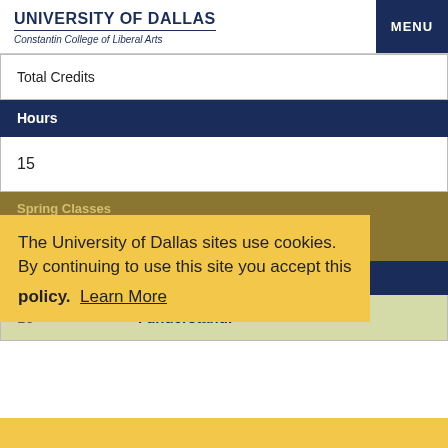UNIVERSITY OF DALLAS | Constantin College of Liberal Arts | MENU
| Total Credits |
| --- |
| Hours |
| 15 |
| Spring Classes |
| Total Credits |
| Hours |
| 16 |
The University of Dallas sites use cookies. By continuing to use this site you accept this policy. Learn More
I understand.